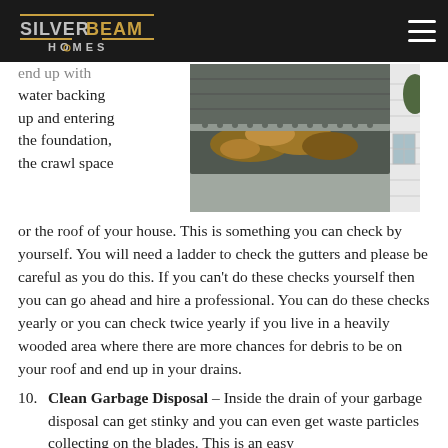Silver Beam Homes logo and navigation
end up with water backing up and entering the foundation, the crawl space or the roof of your house. This is something you can check by yourself. You will need a ladder to check the gutters and please be careful as you do this. If you can't do these checks yourself then you can go ahead and hire a professional. You can do these checks yearly or you can check twice yearly if you live in a heavily wooded area where there are more chances for debris to be on your roof and end up in your drains.
[Figure (photo): Photo of a clogged house gutter filled with autumn leaves and a metal mesh guard, viewed from above showing the roofline and white siding of a house.]
10. Clean Garbage Disposal – Inside the drain of your garbage disposal can get stinky and you can even get waste particles collecting on the blades. This is an easy